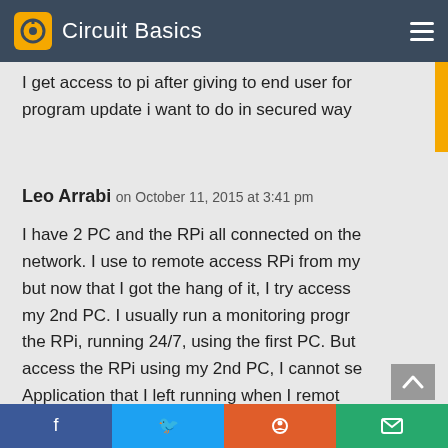Circuit Basics
I get access to pi after giving to end user for program update i want to do in secured way
Leo Arrabi on October 11, 2015 at 3:41 pm
I have 2 PC and the RPi all connected on the network. I use to remote access RPi from my but now that I got the hang of it, I try access my 2nd PC. I usually run a monitoring progr the RPi, running 24/7, using the first PC. But access the RPi using my 2nd PC, I cannot se Application that I left running when I remot it using the first PC. I was expecting to conti
f  t  reddit  mail